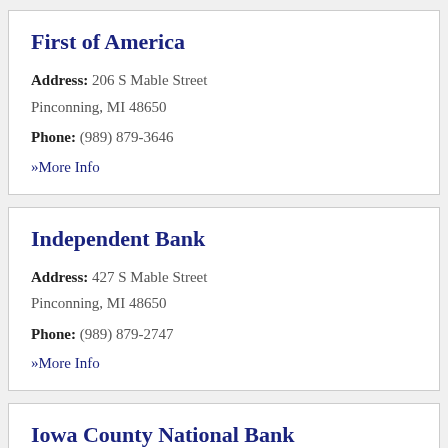First of America
Address: 206 S Mable Street Pinconning, MI 48650
Phone: (989) 879-3646
» More Info
Independent Bank
Address: 427 S Mable Street Pinconning, MI 48650
Phone: (989) 879-2747
» More Info
Iowa County National Bank